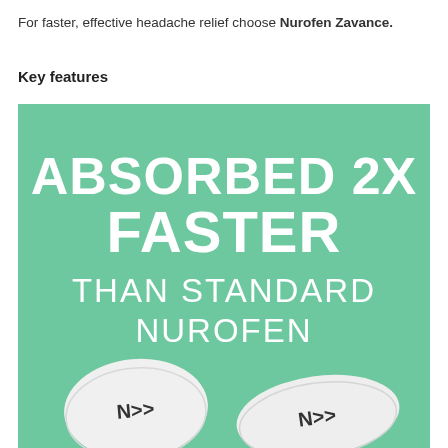For faster, effective headache relief choose Nurofen Zavance.
Key features
[Figure (illustration): Green background promotional image for Nurofen Zavance showing bold white text 'ABSORBED 2X FASTER THAN STANDARD NUROFEN' with two white oval tablets each marked with 'N>>' logo]